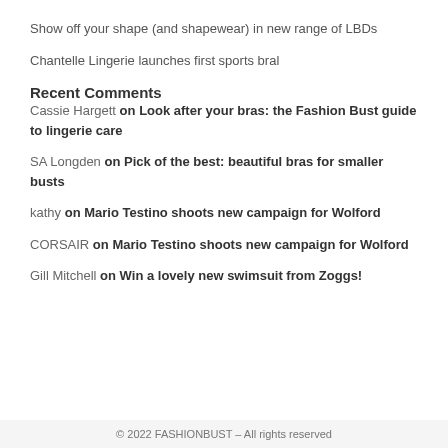Show off your shape (and shapewear) in new range of LBDs
Chantelle Lingerie launches first sports bral
Recent Comments
Cassie Hargett on Look after your bras: the Fashion Bust guide to lingerie care
SA Longden on Pick of the best: beautiful bras for smaller busts
kathy on Mario Testino shoots new campaign for Wolford
CORSAIR on Mario Testino shoots new campaign for Wolford
Gill Mitchell on Win a lovely new swimsuit from Zoggs!
© 2022 FASHIONBUST – All rights reserved